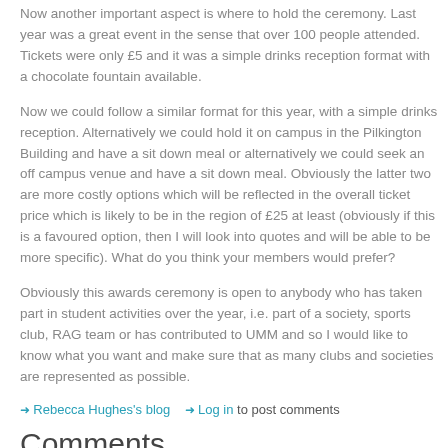Now another important aspect is where to hold the ceremony. Last year was a great event in the sense that over 100 people attended. Tickets were only £5 and it was a simple drinks reception format with a chocolate fountain available.
Now we could follow a similar format for this year, with a simple drinks reception. Alternatively we could hold it on campus in the Pilkington Building and have a sit down meal or alternatively we could seek an off campus venue and have a sit down meal. Obviously the latter two are more costly options which will be reflected in the overall ticket price which is likely to be in the region of £25 at least (obviously if this is a favoured option, then I will look into quotes and will be able to be more specific). What do you think your members would prefer?
Obviously this awards ceremony is open to anybody who has taken part in student activities over the year, i.e. part of a society, sports club, RAG team or has contributed to UMM and so I would like to know what you want and make sure that as many clubs and societies are represented as possible.
Rebecca Hughes's blog  Log in to post comments
Comments
Alister Houghton   Massive article